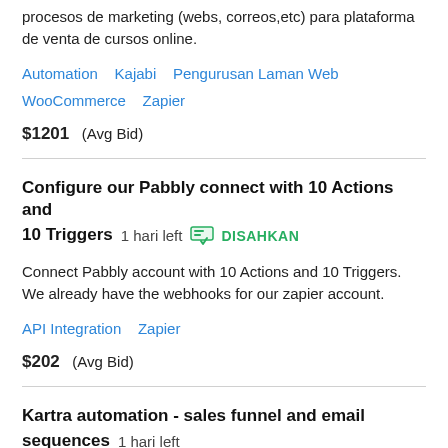procesos de marketing (webs, correos,etc) para plataforma de venta de cursos online.
Automation   Kajabi   Pengurusan Laman Web   WooCommerce   Zapier
$1201  (Avg Bid)
Configure our Pabbly connect with 10 Actions and 10 Triggers  1 hari left  DISAHKAN
Connect Pabbly account with 10 Actions and 10 Triggers. We already have the webhooks for our zapier account.
API Integration   Zapier
$202  (Avg Bid)
Kartra automation - sales funnel and email sequences  1 hari left